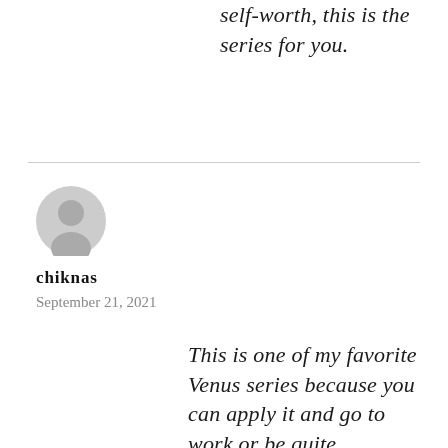self-worth, this is the series for you.
[Figure (illustration): Gray circular default user avatar icon]
chiknas
September 21, 2021
This is one of my favorite Venus series because you can apply it and go to work or be quite productive